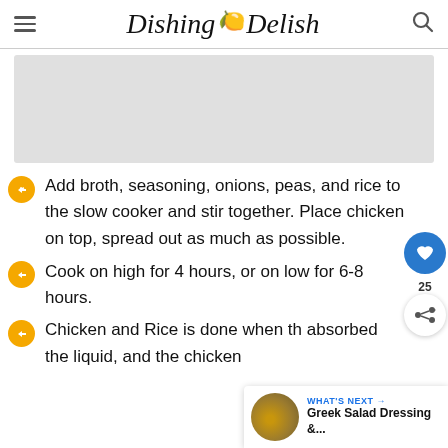Dishing Delish
[Figure (other): Gray rectangular advertisement placeholder box]
Add broth, seasoning, onions, peas, and rice to the slow cooker and stir together. Place chicken on top, spread out as much as possible.
Cook on high for 4 hours, or on low for 6-8 hours.
Chicken and Rice is done when th absorbed the liquid, and the chicken